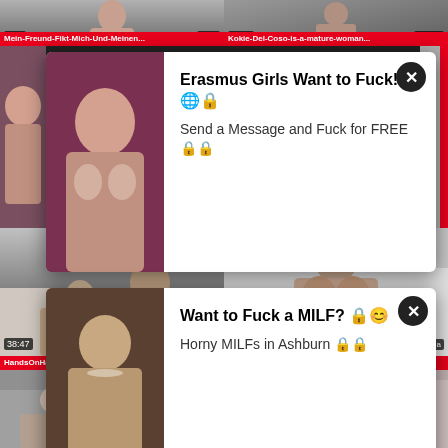[Figure (screenshot): Adult video website screenshot with two ad overlays. Top row shows two video thumbnails with duration badges (0:21, 15:31) and source labels (mein, KOKIE). Two white popup ad overlays appear: first reads 'Erasmus Girls Want to Fuck! Send a Message and Fuck for FREE', second reads 'Want to Fuck a MILF? Horny MILFs in Ashburn'. Lower section shows two large video thumbnails with durations 38:47 (handsonhardcore-kris) and 30:39 (karolina), with titles 'HandsOnHardcore-Kris The Foxx-' and 'Karolina with big natural tits at Czech'. Bottom row shows partial thumbnails.]